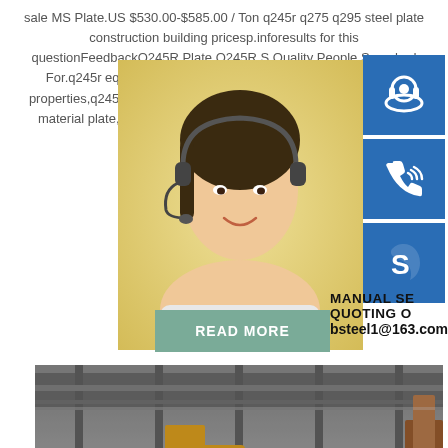sale MS Plate.US $530.00-$585.00 / Ton q245r q275 q295 steel plate construction building pricesp.inforesults for this questionFeedbackQ245R Plate,Q245R S Quality People Searched For.q245r equiva india,mild steel q245r plate,q245r plate plate properties,q245r steel plate properti material,q245r equivalent asme material plate,q245r plate specifications,q24 mumbai,q245r plate suppliers in india,g
[Figure (photo): Woman with headset providing customer support service, yellow background]
[Figure (illustration): Blue icon box with headset/customer support icon]
[Figure (illustration): Blue icon box with phone/call icon]
[Figure (illustration): Blue icon box with Skype icon]
READ MORE
MANUAL SE
QUOTING O
bsteel1@163.com
[Figure (photo): Steel factory interior showing stacked steel plates on warehouse floor with industrial cranes]